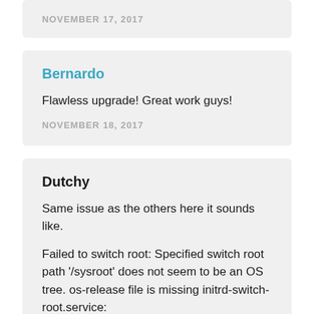NOVEMBER 17, 2017
Bernardo
Flawless upgrade! Great work guys!
NOVEMBER 18, 2017
Dutchy
Same issue as the others here it sounds like.
Failed to switch root: Specified switch root path '/sysroot' does not seem to be an OS tree. os-release file is missing initrd-switch-root.service: Main Process exited, code=exited,